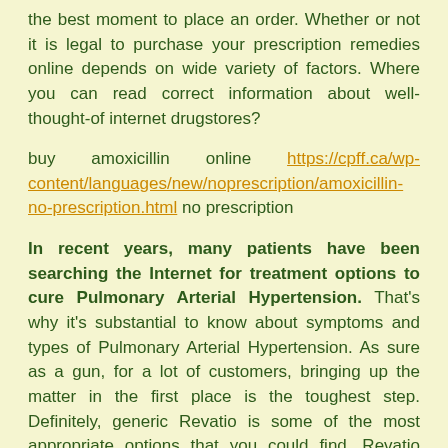the best moment to place an order. Whether or not it is legal to purchase your prescription remedies online depends on wide variety of factors. Where you can read correct information about well-thought-of internet drugstores?
buy amoxicillin online https://cpff.ca/wp-content/languages/new/noprescription/amoxicillin-no-prescription.html no prescription
In recent years, many patients have been searching the Internet for treatment options to cure Pulmonary Arterial Hypertension. That's why it's substantial to know about symptoms and types of Pulmonary Arterial Hypertension. As sure as a gun, for a lot of customers, bringing up the matter in the first place is the toughest step. Definitely, generic Revatio is some of the most appropriate options that you could find. Revatio (Sildenafil) is commonly used to treat adenomyosis. Taking such medication can help...